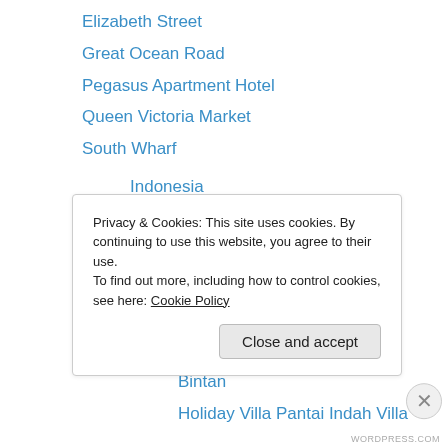Elizabeth Street
Great Ocean Road
Pegasus Apartment Hotel
Queen Victoria Market
South Wharf
Indonesia
Bali
Bracha Villa
Ziva A Boutique Villa
Batam
The BCC Hotel
Bintan
Holiday Villa Pantai Indah Villa
Privacy & Cookies: This site uses cookies. By continuing to use this website, you agree to their use.
To find out more, including how to control cookies, see here: Cookie Policy
Close and accept